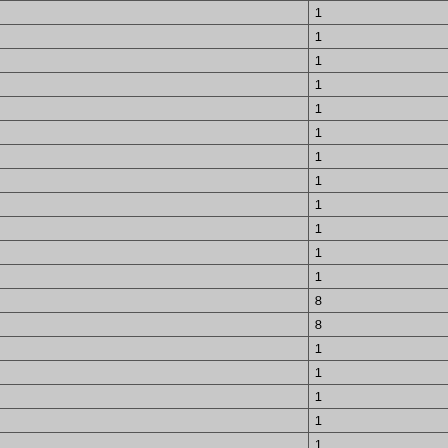| Brand | Model |  |
| --- | --- | --- |
| LG PHILIPS | LB150X02-TL01 | 1 |
| LG PHILIPS | LC150X01-SL01 | 1 |
| LG PHILIPS | LC171W03-C4 | 1 |
| LG PHILIPS | LM150X08-TLB1 | 1 |
| LG PHILIPS | LM151X2 | 1 |
| LG PHILIPS | LM170E01 | 1 |
| LG PHILIPS | LM180E06-A4M1 | 1 |
| LG PHILIPS | LM190E02-B4 | 1 |
| LG PHILIPS | LM190E03-TLB2 | 1 |
| LG PHILIPS | LM190E03-TLB4 | 1 |
| LG PHILIPS | LM190E08-TTL3 | 1 |
| LG PHILIPS | LM190WX1-TLL1 | 1 |
| MITSUBISHI | AA084VC01 | 8 |
| MITSUBISHI | AA084VC03 | 8 |
| MITSUBISHI | AA104SG04 | 1 |
| MITSUBISHI | AA121SL01 | 1 |
| MITSUBISHI | AA121XH01 | 1 |
| MITSUBISHI | AA121XH03 | 1 |
| MITSUBISHI | AA150XC01 | 1 |
| MITSUBISHI | AA150XC03 | 1 |
| MITSUBISHI | AA150XN04 | 1 |
| NEC | NL6448AC20-06 | 6 |
| NEC | NL6448BC20-08 | 6 |
| NEC | NL8060BC21-03 | 8 |